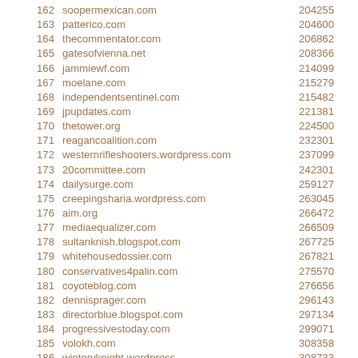| # | Domain | Score |
| --- | --- | --- |
| 162 | soopermexican.com | 204255 |
| 163 | patterico.com | 204600 |
| 164 | thecommentator.com | 206862 |
| 165 | gatesofvienna.net | 208366 |
| 166 | jammiewf.com | 214099 |
| 167 | moelane.com | 215279 |
| 168 | independentsentinel.com | 215482 |
| 169 | jpupdates.com | 221381 |
| 170 | thetower.org | 224500 |
| 171 | reagancoalition.com | 232301 |
| 172 | westernrifleshooters.wordpress.com | 237099 |
| 173 | 20committee.com | 242301 |
| 174 | dailysurge.com | 259127 |
| 175 | creepingsharia.wordpress.com | 263045 |
| 176 | aim.org | 266472 |
| 177 | mediaequalizer.com | 266509 |
| 178 | sultanknish.blogspot.com | 267725 |
| 179 | whitehousedossier.com | 267821 |
| 180 | conservatives4palin.com | 275570 |
| 181 | coyoteblog.com | 276656 |
| 182 | dennisprager.com | 296143 |
| 183 | directorblue.blogspot.com | 297134 |
| 184 | progressivestoday.com | 299071 |
| 185 | volokh.com | 308358 |
| 186 | winteryknight.wordpress | 308733 |
| 187 | shark-tank.net | 326379 |
| 188 | ihatethemedia.com | 329597 |
| 189 | wizbangblog.com | 330820 |